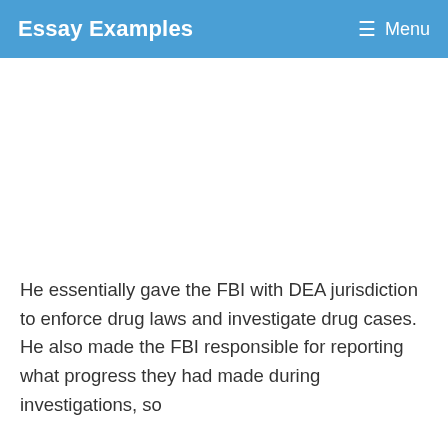Essay Examples  ☰ Menu
He essentially gave the FBI with DEA jurisdiction to enforce drug laws and investigate drug cases. He also made the FBI responsible for reporting what progress they had made during investigations, so